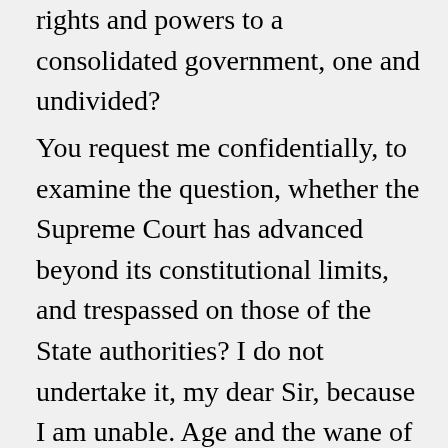rights and powers to a consolidated government, one and undivided?
You request me confidentially, to examine the question, whether the Supreme Court has advanced beyond its constitutional limits, and trespassed on those of the State authorities? I do not undertake it, my dear Sir, because I am unable. Age and the wane of mind consequent on it, have disqualified me from investigations so severe, and researches so laborious. And it is the less necessary in this case, as having been already done by others with a logic and learning to which I could add nothing. On the decision of the case of Cohens vs. The State of